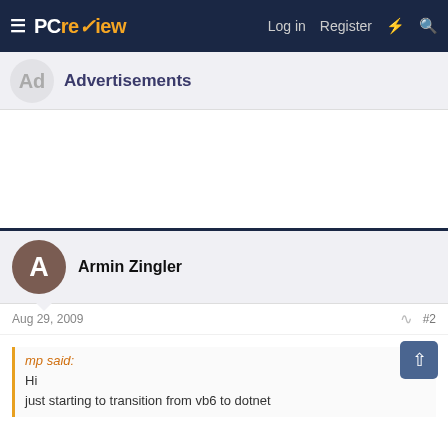PCreview — Log in  Register
Advertisements
Armin Zingler
Aug 29, 2009  #2
mp said:
Hi
just starting to transition from vb6 to dotnet